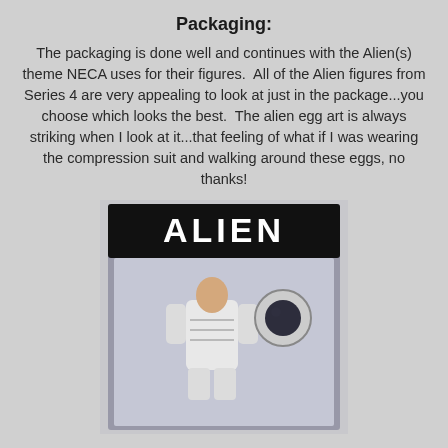Packaging:
The packaging is done well and continues with the Alien(s) theme NECA uses for their figures.  All of the Alien figures from Series 4 are very appealing to look at just in the package...you choose which looks the best.  The alien egg art is always striking when I look at it...that feeling of what if I was wearing the compression suit and walking around these eggs, no thanks!
[Figure (photo): NECA Alien action figure in packaging showing a figure in a white compression/space suit with helmet accessory, under a black header reading 'ALIEN' in large white letters]